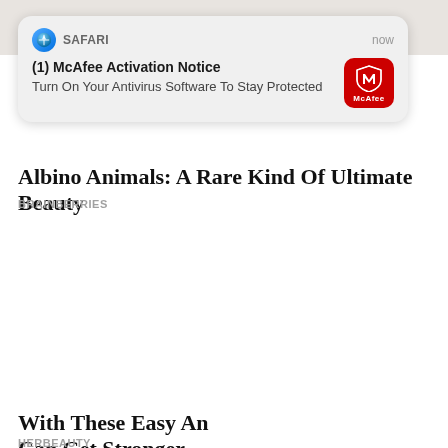[Figure (screenshot): Safari browser push notification popup from McAfee: '(1) McAfee Activation Notice - Turn On Your Antivirus Software To Stay Protected' with McAfee red icon, displayed over a webpage in Safari on iOS.]
Albino Animals: A Rare Kind Of Ultimate Beauty
BRAINBERRIES
[Figure (screenshot): Ad area with a close (×) button, a JSV black square logo, a dot separator, and a dark horizontal bar element, centered in the page.]
With These Easy An Can Get Stronger
HERBEAUTY